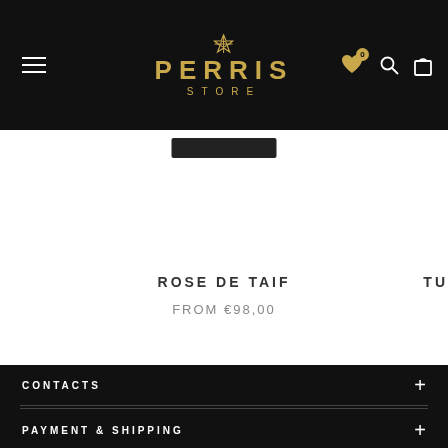PERRIS STORE
ROSE DE TAIF
FROM €98,00
TU
CONTACTS
CUSTOMER CARE
PAYMENT & SHIPPING